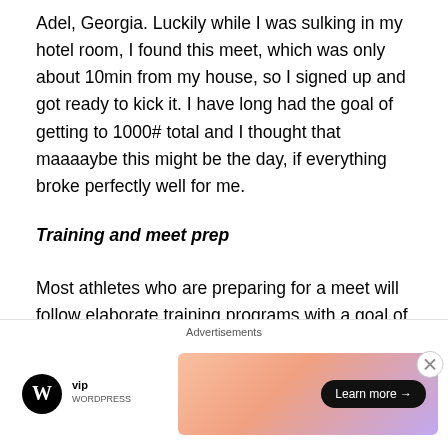Adel, Georgia. Luckily while I was sulking in my hotel room, I found this meet, which was only about 10min from my house, so I signed up and got ready to kick it. I have long had the goal of getting to 1000# total and I thought that maaaaybe this might be the day, if everything broke perfectly well for me.
Training and meet prep
Most athletes who are preparing for a meet will follow elaborate training programs with a goal of peaking their strength right at meet time. Because I'm coached by the team at Complete Human Performance, I just do what my coach (a pro triathlete) tells me to do. Typically I lift
[Figure (other): Advertisement bar at the bottom of the page showing 'Advertisements' label, WordPress VIP logo on the left, and a colorful gradient banner with a 'Learn more →' button on the right. A close (X) button is visible in the top-right corner of the ad area.]